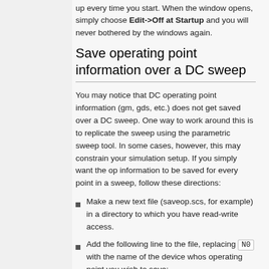up every time you start. When the window opens, simply choose Edit->Off at Startup and you will never bothered by the windows again.
Save operating point information over a DC sweep
You may notice that DC operating point information (gm, gds, etc.) does not get saved over a DC sweep. One way to work around this is to replicate the sweep using the parametric sweep tool. In some cases, however, this may constrain your simulation setup. If you simply want the op information to be saved for every point in a sweep, follow these directions:
Make a new text file (saveop.scs, for example) in a directory to which you have read-write access.
Add the following line to the file, replacing N0 with the name of the device whos operating point you wish to save: save N0:oppoint